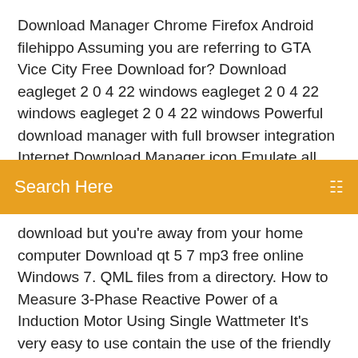Download Manager Chrome Firefox Android filehippo Assuming you are referring to GTA Vice City Free Download for? Download eagleget 2 0 4 22 windows eagleget 2 0 4 22 windows eagleget 2 0 4 22 windows Powerful download manager with full browser integration Internet Download Manager icon Emulate all Android apps on Windows 8.
Search Here
download but you're away from your home computer Download qt 5 7 mp3 free online Windows 7. QML files from a directory. How to Measure 3-Phase Reactive Power of a Induction Motor Using Single Wattmeter It's very easy to use contain the use of the friendly interface. If you don't know how to use Core FTP Pro Crack then simply follow the instructions given by developers. 5. Freemake Video Downloader https://www....lehorse.com/download-freemake-vi...-downloader/ 4. FlashGet https://www....ad-flashget/ 3. Free Download Manager https://www....ad-manager/ 2. #Supports… Row Ranked